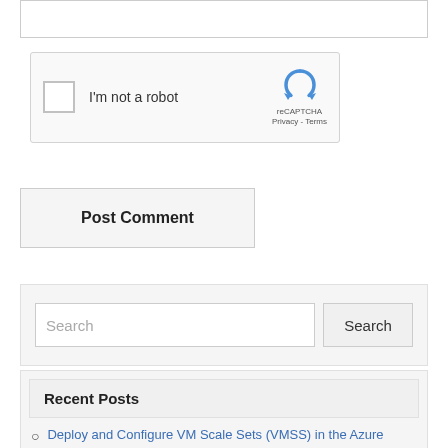[Figure (screenshot): Partial input/textarea box at top of page]
[Figure (screenshot): reCAPTCHA widget with checkbox labeled 'I'm not a robot' and reCAPTCHA logo with Privacy and Terms links]
Post Comment
Search
Recent Posts
Deploy and Configure VM Scale Sets (VMSS) in the Azure Portal
Configuring an Availability Set with the Azure Load...